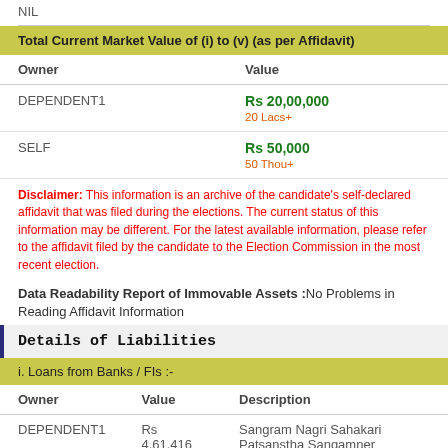NIL
| Owner | Value |
| --- | --- |
| DEPENDENT1 | Rs 20,00,000
20 Lacs+ |
| SELF | Rs 50,000
50 Thou+ |
Total Current Market Value of (i) to (v) (as per Affidavit)
Disclaimer: This information is an archive of the candidate's self-declared affidavit that was filed during the elections. The current status of this information may be different. For the latest available information, please refer to the affidavit filed by the candidate to the Election Commission in the most recent election.
Data Readability Report of Immovable Assets :No Problems in Reading Affidavit Information
Details of Liabilities
i. Loans from Banks / FIs :-
| Owner | Value | Description |
| --- | --- | --- |
| DEPENDENT1 | Rs 4,61,416 | Sangram Nagri Sahakari Patsanstha Sangamner |